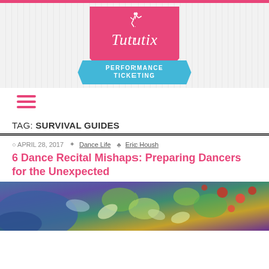[Figure (logo): Tututix Performance Ticketing logo — pink badge with dancer silhouette and blue ribbon banner]
[Figure (other): Hamburger menu icon with three pink horizontal lines]
TAG: SURVIVAL GUIDES
APRIL 28, 2017  Dance Life  Eric Housh
6 Dance Recital Mishaps: Preparing Dancers for the Unexpected
[Figure (photo): Colorful artistic photo showing dancers in blue and multicolored floral costumes]